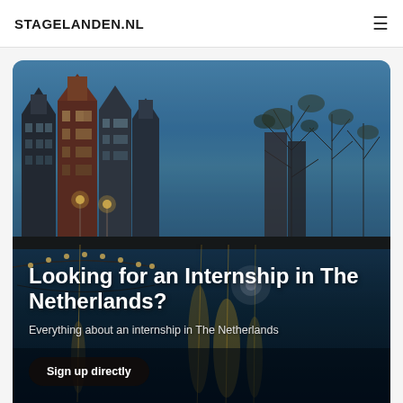STAGELANDEN.NL
[Figure (photo): Amsterdam canal at dusk with historic Dutch canal houses, illuminated bridge arches, and golden reflections on the water. Trees line the right side of the canal. City lights glow warmly against a blue twilight sky.]
Looking for an Internship in The Netherlands?
Everything about an internship in The Netherlands
Sign up directly